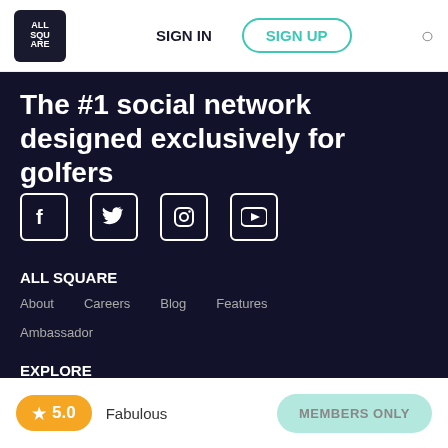ALL SQUARE  SIGN IN  SIGN UP
The #1 social network designed exclusively for golfers
[Figure (logo): Social media icons: Facebook, Twitter, Instagram, YouTube]
ALL SQUARE
About   Careers   Blog   Features
Ambassador
EXPLORE
★ 5.0  Fabulous   MEMBERS ONLY